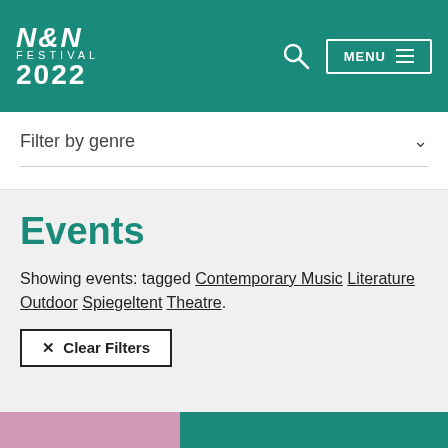N&N FESTIVAL 2022
Filter by genre
Events
Showing events: tagged Contemporary Music Literature Outdoor Spiegeltent Theatre.
× Clear Filters